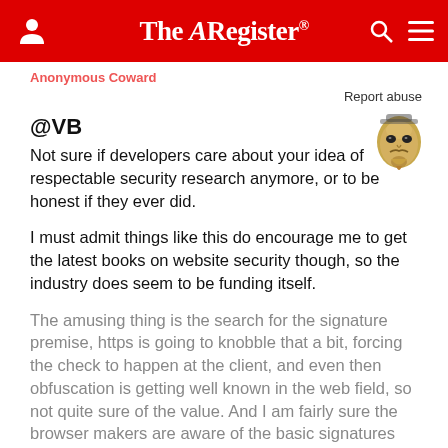The Register
Anonymous Coward
Report abuse
@VB
[Figure (illustration): Guy Fawkes mask / Anonymous mask illustration in gold/beige tones]
Not sure if developers care about your idea of respectable security research anymore, or to be honest if they ever did.
I must admit things like this do encourage me to get the latest books on website security though, so the industry does seem to be funding itself.
The amusing thing is the search for the signature premise, https is going to knobble that a bit, forcing the check to happen at the client, and even then obfuscation is getting well known in the web field, so not quite sure of the value. And I am fairly sure the browser makers are aware of the basic signatures already, as they keep plugging the holes.